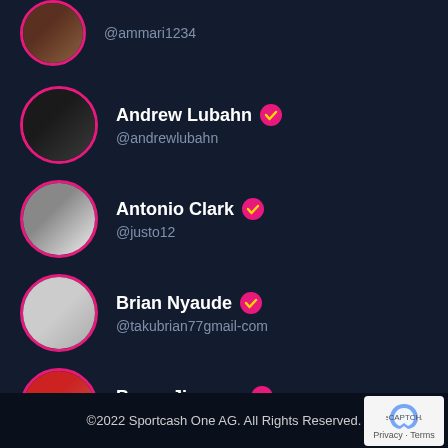@ammari1234
Andrew Lubahn @andrewlubahn
Antonio Clark @justo12
Brian Nyaude @takubrian77gmail-com
Bryan Jimenez @bryan-jimenez
©2022 Sportcash One AG. All Rights Reserved.